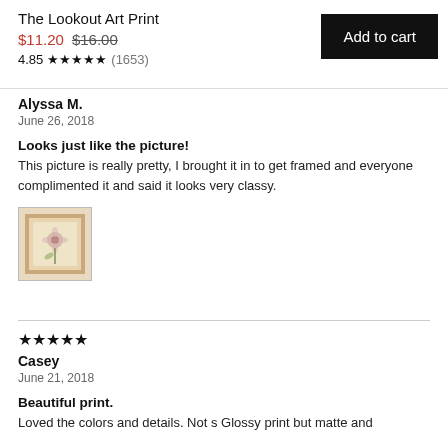The Lookout Art Print
$11.20 $16.00
4.85 ★★★★★ (1653)
Add to cart
Alyssa M.
June 26, 2018
Looks just like the picture! This picture is really pretty, I brought it in to get framed and everyone complimented it and said it looks very classy.
[Figure (photo): Small framed art print thumbnail showing a floral illustration]
★★★★★
Casey
June 21, 2018
Beautiful print. Loved the colors and details. Not s Glossy print but matte and